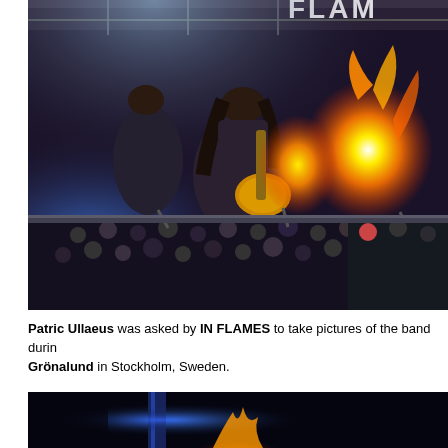[Figure (photo): Concert photo of In Flames performing on stage with pyrotechnic fire explosions behind the guitarist, large crowd visible in background, stage lighting with blue tones, band name visible in lights above]
Patric Ullaeus was asked by IN FLAMES to take pictures of the band during Grönalund in Stockholm, Sweden.
[Figure (photo): Bottom portion of another concert photo showing fire/pyrotechnics with blue stage lighting in dark setting]